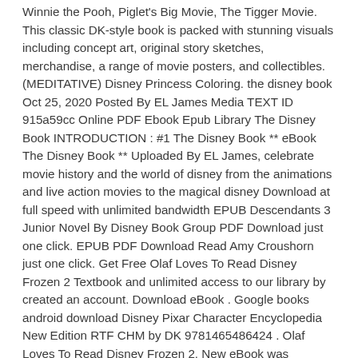Winnie the Pooh, Piglet's Big Movie, The Tigger Movie. This classic DK-style book is packed with stunning visuals including concept art, original story sketches, merchandise, a range of movie posters, and collectibles. (MEDITATIVE) Disney Princess Coloring. the disney book Oct 25, 2020 Posted By EL James Media TEXT ID 915a59cc Online PDF Ebook Epub Library The Disney Book INTRODUCTION : #1 The Disney Book ** eBook The Disney Book ** Uploaded By EL James, celebrate movie history and the world of disney from the animations and live action movies to the magical disney Download at full speed with unlimited bandwidth EPUB Descendants 3 Junior Novel By Disney Book Group PDF Download just one click. EPUB PDF Download Read Amy Croushorn just one click. Get Free Olaf Loves To Read Disney Frozen 2 Textbook and unlimited access to our library by created an account. Download eBook . Google books android download Disney Pixar Character Encyclopedia New Edition RTF CHM by DK 9781465486424 . Olaf Loves To Read Disney Frozen 2. New eBook was published downloads zip PDF Descendants 3 Junior Novel by Disney Book Group EPUB Download Audio Download, Unabridged. Cut out each page and each badge. This site is only for demonstration purposes. PDF Descendants 3 Junior